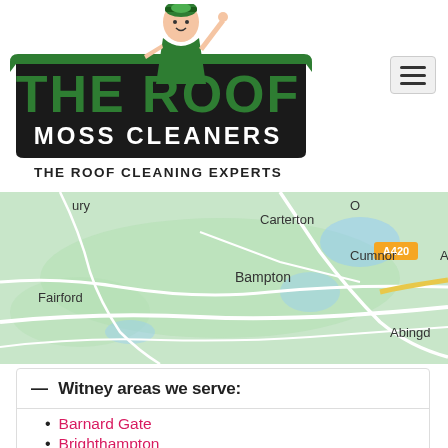[Figure (logo): The Roof Moss Cleaners logo featuring a cartoon man in green uniform pointing upward, with bold green 'THE ROOF' text, 'MOSS CLEANERS' below, all on a dark background shape]
THE ROOF CLEANING EXPERTS
[Figure (map): Google Maps screenshot showing area around Witney, UK including Carterton, Bampton, Fairford, Cumnor, Abingdon, with A420 road marked]
— Witney areas we serve:
Barnard Gate
Brighthampton